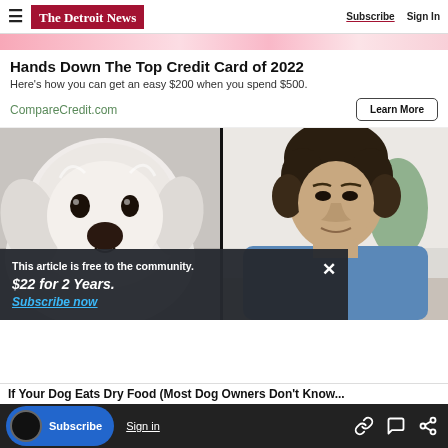The Detroit News | Subscribe | Sign In
[Figure (photo): Pink background ad banner strip at top]
Hands Down The Top Credit Card of 2022
Here's how you can get an easy $200 when you spend $500.
CompareCredit.com
[Figure (photo): Two-panel image: left panel shows a fluffy white dog looking at camera, right panel shows a man with curly hair in a blue shirt looking down, separated by a vertical black line]
This article is free to the community.
$22 for 2 Years.
Subscribe now
If Your Dog Eats Dry Food (Most Dog Owners Don't Know...